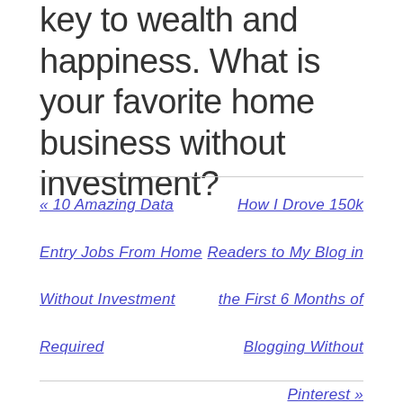key to wealth and happiness. What is your favorite home business without investment?
« 10 Amazing Data Entry Jobs From Home Without Investment Required
How I Drove 150k Readers to My Blog in the First 6 Months of Blogging Without Pinterest »